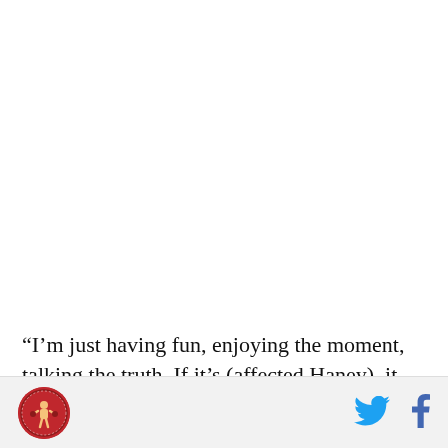“I’m just having fun, enjoying the moment, talking the truth. If it’s (affected Haney), it has, if it hasn’t, so be it.
[Figure (logo): Round red logo with a boxer/fighter illustration and text around the border]